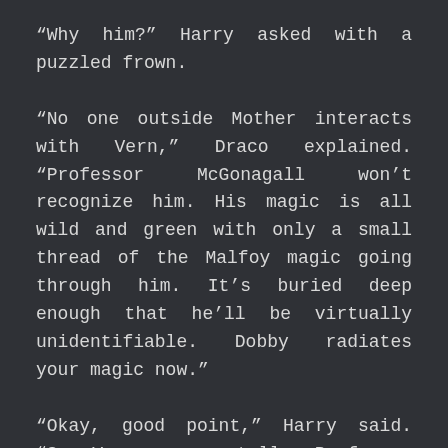“Why him?” Harry asked with a puzzled frown.
“No one outside Mother interacts with Vern,” Draco explained. “Professor McGonagall won’t recognize him. His magic is all wild and green with only a small thread of the Malfoy magic going through him. It’s buried deep enough that he’ll be virtually unidentifiable. Dobby radiates your magic now.”
“Okay, good point,” Harry said. “So Vern goes, tells Professor McGonagall that Remus has been horribly cursed, that the